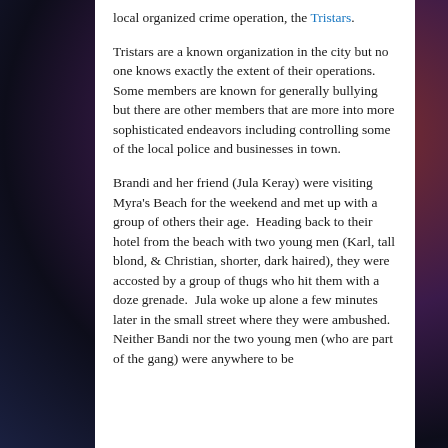local organized crime operation, the Tristars.
Tristars are a known organization in the city but no one knows exactly the extent of their operations. Some members are known for generally bullying but there are other members that are more into more sophisticated endeavors including controlling some of the local police and businesses in town.
Brandi and her friend (Jula Keray) were visiting Myra's Beach for the weekend and met up with a group of others their age.  Heading back to their hotel from the beach with two young men (Karl, tall blond, & Christian, shorter, dark haired), they were accosted by a group of thugs who hit them with a doze grenade.  Jula woke up alone a few minutes later in the small street where they were ambushed.  Neither Bandi nor the two young men (who are part of the gang) were anywhere to be